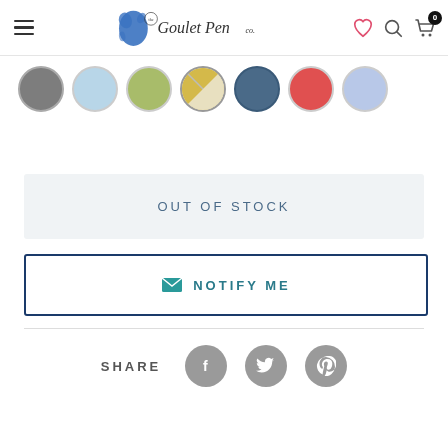[Figure (screenshot): Goulet Pen Co. website header with hamburger menu, logo, heart icon, search icon, and cart icon showing 0 items]
[Figure (other): Seven circular color swatches: gray, light blue, green, yellow/white split, dark blue, red, periwinkle]
OUT OF STOCK
NOTIFY ME
SHARE